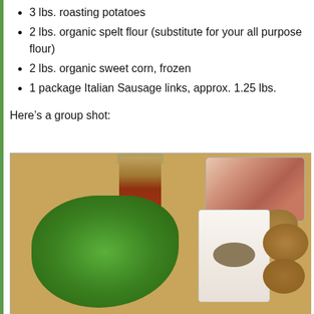3 lbs. roasting potatoes
2 lbs. organic spelt flour (substitute for your all purpose flour)
2 lbs. organic sweet corn, frozen
1 package Italian Sausage links, approx. 1.25 lbs.
Here’s a group shot:
[Figure (photo): Group shot of ingredients on a wooden cutting board: a jar of BBQ sauce, a rack of ribs in packaging, a large pile of fresh greens/arugula, a white bag of flour with logo, and several brown potatoes.]